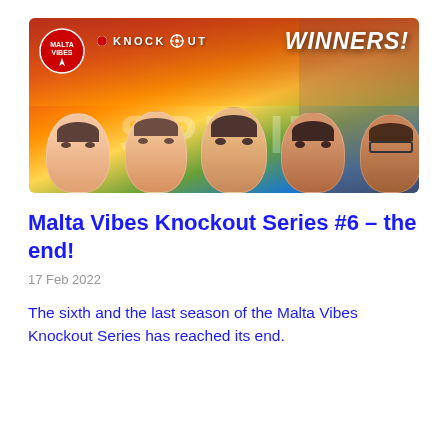[Figure (photo): Malta Vibes Knockout Series banner image showing five players' faces with text 'KNOCKOUT WINNERS!' on a colorful red/orange/green gradient background with the word SPIRIT overlaid. Includes Malta Vibes logo badge top left.]
Malta Vibes Knockout Series #6 – the end!
17 Feb 2022
The sixth and the last season of the Malta Vibes Knockout Series has reached its end.